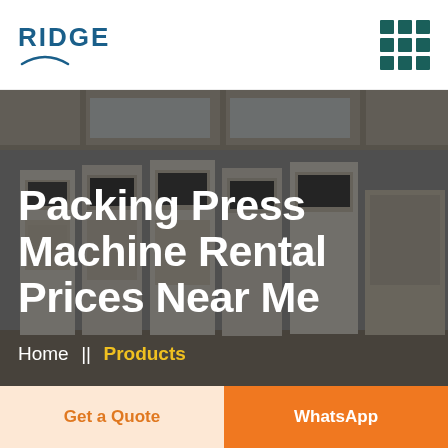RIDGE
Packing Press Machine Rental Prices Near Me
Home  ||  Products
Get a Quote
WhatsApp